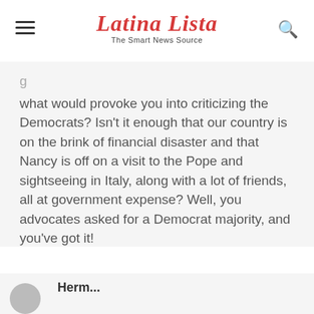Latina Lista — The Smart News Source
what would provoke you into criticizing the Democrats? Isn't it enough that our country is on the brink of financial disaster and that Nancy is off on a visit to the Pope and sightseeing in Italy, along with a lot of friends, all at government expense? Well, you advocates asked for a Democrat majority, and you've got it!
Herm...